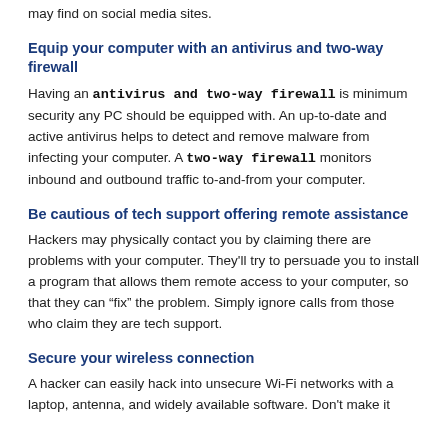may find on social media sites.
Equip your computer with an antivirus and two-way firewall
Having an antivirus and two-way firewall is minimum security any PC should be equipped with. An up-to-date and active antivirus helps to detect and remove malware from infecting your computer. A two-way firewall monitors inbound and outbound traffic to-and-from your computer.
Be cautious of tech support offering remote assistance
Hackers may physically contact you by claiming there are problems with your computer. They'll try to persuade you to install a program that allows them remote access to your computer, so that they can “fix” the problem. Simply ignore calls from those who claim they are tech support.
Secure your wireless connection
A hacker can easily hack into unsecure Wi-Fi networks with a laptop, antenna, and widely available software. Don't make it